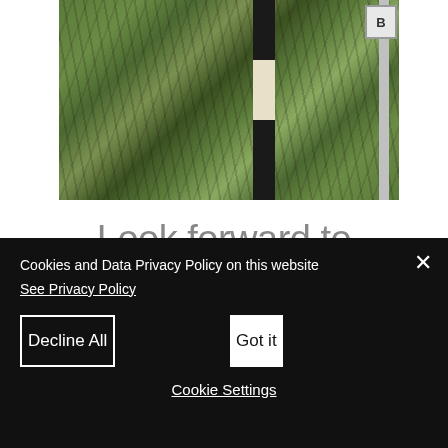[Figure (photo): Outdoor photo showing dense overgrown shrubs and branches, with a black pole featuring a white band/stripe in the middle, and a road sign post visible on the right edge. The image is cropped, showing only the upper portion of the scene.]
Look forward to Cycling Holidays in
Cookies and Data Privacy Policy on this website
See Privacy Policy
Decline All
Got it
Cookie Settings